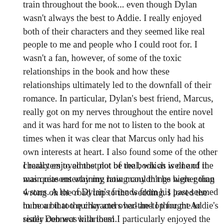train throughout the book... even though Dylan wasn't always the best to Addie. I really enjoyed both of their characters and they seemed like real people to me and people who I could root for. I wasn't a fan, however, of some of the toxic relationships in the book and how these relationships ultimately led to the downfall of their romance. In particular, Dylan's best friend, Marcus, really got on my nerves throughout the entire novel and it was hard for me not to listen to the book at times when it was clear that Marcus only had his own interests at heart. I also found some of the other characters to almost not be real, which is one of the main reasons why my rating couldn't be higher than 4 stars. A lot of Dylan's friends from his past seemed to be a bit too quirky and over-the-top for me to really connect with them.
I really enjoyed the plot of the book as well and it was quite entertaining how many things were going wrong on the road trip to the wedding. I loved the humour that the characters had and I thought Addie's sister Deb was hilarious! I particularly enjoyed the last hour of the